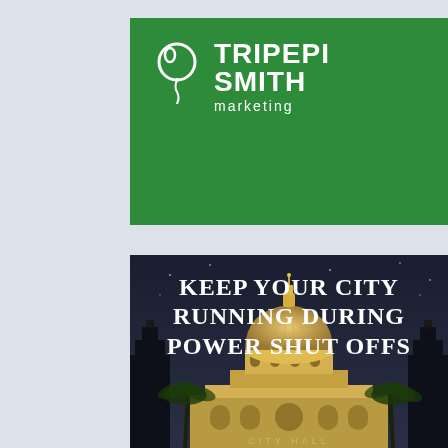[Figure (logo): Tripepi Smith Marketing logo — white balloon icon with brand name TRIPEPI SMITH in large white bold uppercase letters and 'marketing' in smaller white text below, on a green background]
[Figure (photo): Nighttime photograph of a city hall building with an ornate dome illuminated against a dark blue sky, palm trees visible on the sides. White text overlay reads: KEEP YOUR CITY RUNNING DURING POWER SHUT OFFS. 'CITY HALL' text visible at the base of the building.]